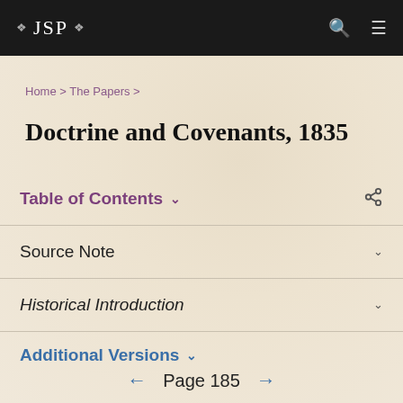❖ JSP ❖
Home > The Papers >
Doctrine and Covenants, 1835
Table of Contents
Source Note
Historical Introduction
Additional Versions
← Page 185 →